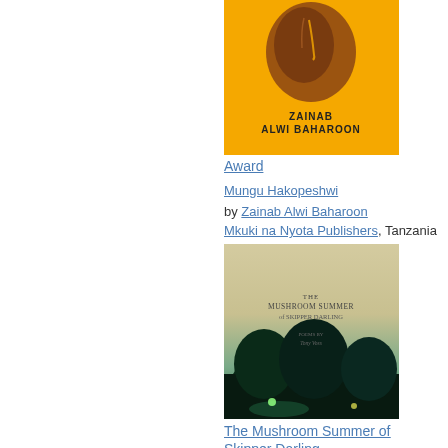[Figure (illustration): Book cover for Mungu Hakopeshwi by Zainab Alwi Baharoon. Yellow/orange background with a stylized dark face/head image and bold author name text.]
Award
Mungu Hakopeshwi
by Zainab Alwi Baharoon
Mkuki na Nyota Publishers, Tanzania
[Figure (photo): Book cover for The Mushroom Summer of Skipper Darling. Dark atmospheric night scene with trees and lights, cream/green tones, with title text in serif font.]
The Mushroom Summer of Skipper Darling